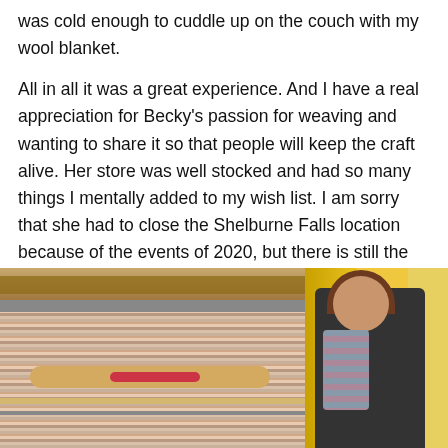was cold enough to cuddle up on the couch with my wool blanket.
All in all it was a great experience. And I have a real appreciation for Becky's passion for weaving and wanting to share it so that people will keep the craft alive. Her store was well stocked and had so many things I mentally added to my wish list. I am sorry that she had to close the Shelburne Falls location because of the events of 2020, but there is still the Farmhouse studio. And I look forward to when she has her online classes up and ready to go.
[Figure (photo): A weaving loom with a shuttle and red yarn resting on woven fabric]
[Figure (photo): A smiling woman with curly hair wearing a dark jacket and striped scarf, standing in front of a yellow wall]